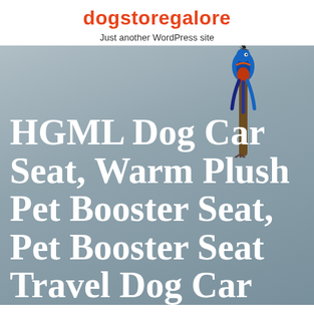dogstoregalore
Just another WordPress site
[Figure (photo): Hero image with a gray/blue-grey background featuring a decorative bird figure (kingfisher-like ornament) in the upper right area, with large white serif text overlay beginning 'HGML Dog Car Seat, Warm Plush Pet Booster Seat, Pet Booster Seat Travel Dog Car...']
HGML Dog Car Seat, Warm Plush Pet Booster Seat, Pet Booster Seat Travel Dog Car